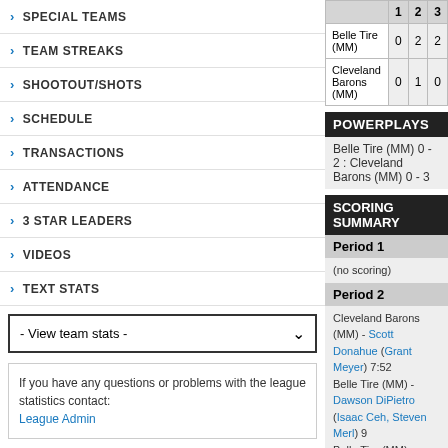SPECIAL TEAMS
TEAM STREAKS
SHOOTOUT/SHOTS
SCHEDULE
TRANSACTIONS
ATTENDANCE
3 STAR LEADERS
VIDEOS
TEXT STATS
- View team stats -
If you have any questions or problems with the league statistics contact: League Admin
|  | 1 | 2 | 3 |
| --- | --- | --- | --- |
| Belle Tire (MM) | 0 | 2 | 2 |
| Cleveland Barons (MM) | 0 | 1 | 0 |
POWERPLAYS
Belle Tire (MM) 0 - 2 : Cleveland Barons (MM) 0 - 3
SCORING SUMMARY
Period 1
(no scoring)
Period 2
Cleveland Barons (MM) - Scott Donahue (Grant Meyer) 7:52
Belle Tire (MM) - Dawson DiPietro (Isaac Ceh, Steven Merl) 9
Belle Tire (MM) - Isaac Ceh (short handed) (Jake Slaker, Matt
Period 3
Belle Tire (MM) - Cooper Leitch (Jared Domin, Thomas Luzyn
Belle Tire (MM) - Steven Merl (Mike Maiden, Alex Peck) 12:08
PENALTIES
Period 1
Cleveland Barons (MM) - Gordie Myer - (Roughing), 2 MIN, 9
Belle Tire (MM) - Alex Peck - (Slashing), 2 MIN, 9:42
Cleveland Barons (MM) - Paul McAvoy - (Tripping), 2 MIN, 11
Period 2
Cleveland Barons (MM) - Scott Donahue - (Unsportsmanlike C
Belle Tire (MM) - Brien Caseria - (Unsportsmanlike Conduct),
Cleveland Barons (MM) - Jack Kelly - (Unsportsmanlike Cond
Belle Tire (MM) - Jake Slaker - (Unsportsmanlike Conduct), 2
Belle Tire (MM) - Jalen Chatfield - (Holding), 2 MIN, 11:42
Belle Tire (MM) - Jalen Chatfield - (Unsportsmanlike Conduct)